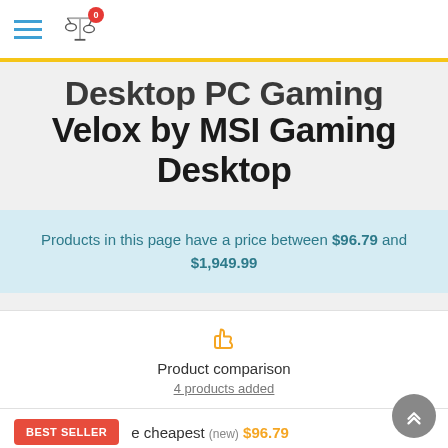Navigation bar with hamburger menu and compare icon with badge 0
Desktop PC Gaming Velox by MSI Gaming Desktop
Products in this page have a price between $96.79 and $1,949.99
Product comparison
4 products added
BEST SELLER · cheapest (new) $96.79